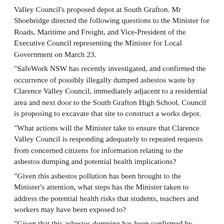Valley Council's proposed depot at South Grafton. Mr Shoebridge directed the following questions to the Minister for Roads, Maritime and Freight, and Vice-President of the Executive Council representing the Minister for Local Government on March 23. "SafeWork NSW has recently investigated, and confirmed the occurrence of possibly illegally dumped asbestos waste by Clarence Valley Council, immediately adjacent to a residential area and next door to the South Grafton High School. Council is proposing to excavate that site to construct a works depot. "What actions will the Minister take to ensure that Clarence Valley Council is responding adequately to repeated requests from concerned citizens for information relating to the asbestos dumping and potential health implications? "Given this asbestos pollution has been brought to the Minister's attention, what steps has the Minister taken to address the potential health risks that students, teachers and workers may have been exposed to? "Given that this asbestos dumping has been confirmed by